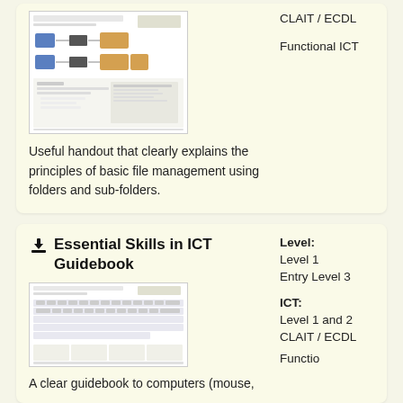[Figure (screenshot): Thumbnail of a file management handout showing folder/file diagrams]
Useful handout that clearly explains the principles of basic file management using folders and sub-folders.
CLAIT / ECDL
Functional ICT
Essential Skills in ICT Guidebook
[Figure (screenshot): Thumbnail of an ICT guidebook page showing a keyboard diagram]
Level: Level 1
Entry Level 3
ICT: Level 1 and 2 CLAIT / ECDL
Functional ICT
A clear guidebook to computers (mouse,